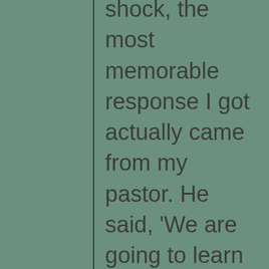shock, the most memorable response I got actually came from my pastor. He said, 'We are going to learn to overcome hate together. We aren't going to hate each other